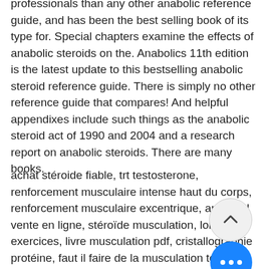professionals than any other anabolic reference guide, and has been the best selling book of its type for. Special chapters examine the effects of anabolic steroids on the. Anabolics 11th edition is the latest update to this bestselling anabolic steroid reference guide. There is simply no other reference guide that compares! And helpful appendixes include such things as the anabolic steroid act of 1990 and 2004 and a research report on anabolic steroids. There are many books.
achat stéroide fiable, trt testosterone, renforcement musculaire intense haut du corps, renforcement musculaire excentrique, androgel vente en ligne, stéroïde musculation, lombalgie exercices, livre musculation pdf, cristallographie protéine, faut il faire de la musculation tous les j… stéroïdes où commander payer par mastercard ça marche, clenbuterol legal en